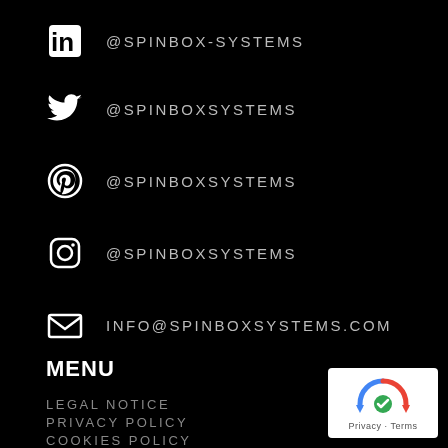LinkedIn: @SPINBOX-SYSTEMS
Twitter: @SPINBOXSYSTEMS
Pinterest: @SPINBOXSYSTEMS
Instagram: @SPINBOXSYSTEMS
Email: INFO@SPINBOXSYSTEMS.COM
MENU
LEGAL NOTICE
PRIVACY POLICY
COOKIES POLICY
TERMS & CONDITIONS
[Figure (logo): reCAPTCHA badge with Privacy and Terms text]